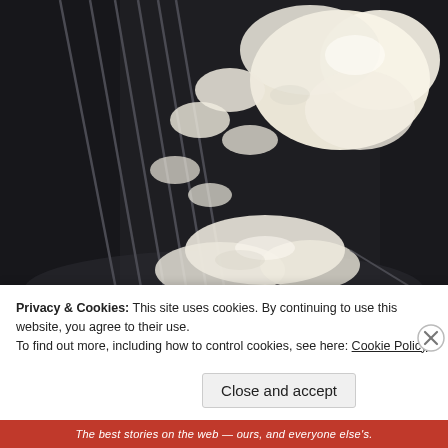[Figure (photo): Close-up photograph of a whisk with white creamed butter or frosting clinging to its tines, set against a dark metal mixing bowl background.]
Privacy & Cookies: This site uses cookies. By continuing to use this website, you agree to their use.
To find out more, including how to control cookies, see here: Cookie Policy
Close and accept
The best stories on the web — ours, and everyone else's.